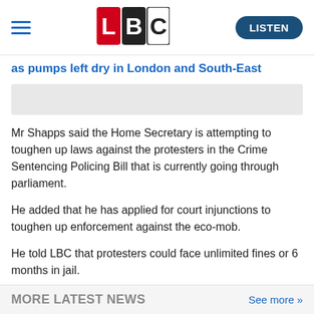LBC — LISTEN
as pumps left dry in London and South-East
[Figure (other): Grey placeholder image for article thumbnail]
Mr Shapps said the Home Secretary is attempting to toughen up laws against the protesters in the Crime Sentencing Policing Bill that is currently going through parliament.
He added that he has applied for court injunctions to toughen up enforcement against the eco-mob.
He told LBC that protesters could face unlimited fines or 6 months in jail.
MORE LATEST NEWS   See more >>